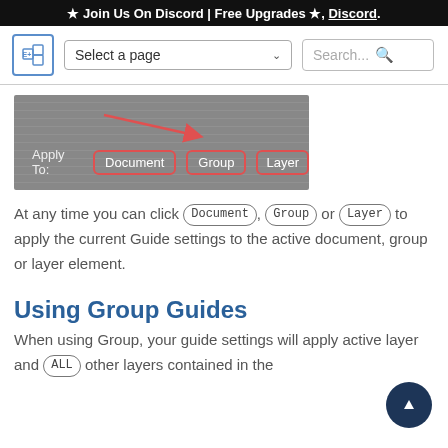★ Join Us On Discord | Free Upgrades ★, Discord.
[Figure (screenshot): UI screenshot showing 'Apply To:' bar with Document, Group, and Layer buttons highlighted in red borders, and a red arrow pointing to them]
At any time you can click Document, Group or Layer to apply the current Guide settings to the active document, group or layer element.
Using Group Guides
When using Group, your guide settings will apply active layer and ALL other layers contained in the